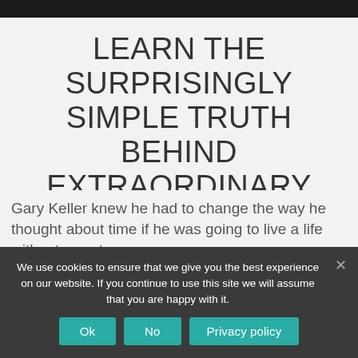[Figure (photo): Top bar with dark image/photo strip at the top of the page]
LEARN THE SURPRISINGLY SIMPLE TRUTH BEHIND EXTRAORDINARY RESULTS
Gary Keller knew he had to change the way he thought about time if he was going to live a life without regret.
We use cookies to ensure that we give you the best experience on our website. If you continue to use this site we will assume that you are happy with it.